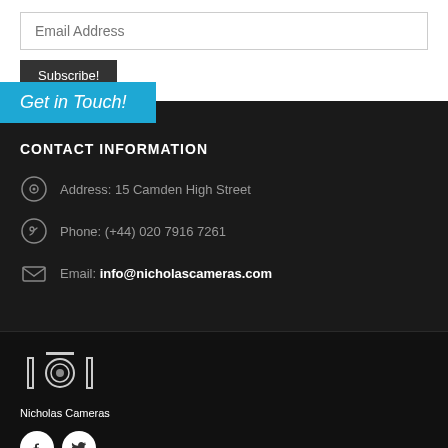Email Address
Subscribe!
Get in Touch!
CONTACT INFORMATION
Address: 15 Camden High Street
Phone: (+44) 020 7916 7261
Email: info@nicholascameras.com
[Figure (logo): Nicholas Cameras camera logo with bracket icon]
Nicholas Cameras
[Figure (illustration): Facebook and Twitter social media icons in white circles]